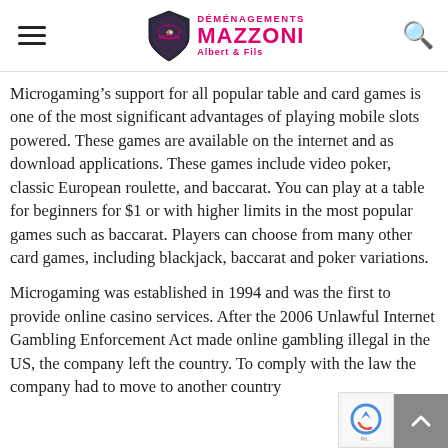DÉMÉNAGEMENTS MAZZONI Albert & Fils
Microgaming's support for all popular table and card games is one of the most significant advantages of playing mobile slots powered. These games are available on the internet and as download applications. These games include video poker, classic European roulette, and baccarat. You can play at a table for beginners for $1 or with higher limits in the most popular games such as baccarat. Players can choose from many other card games, including blackjack, baccarat and poker variations.
Microgaming was established in 1994 and was the first to provide online casino services. After the 2006 Unlawful Internet Gambling Enforcement Act made online g... illegal in the US, the company left the country. To c... with the law the company had to move to another country